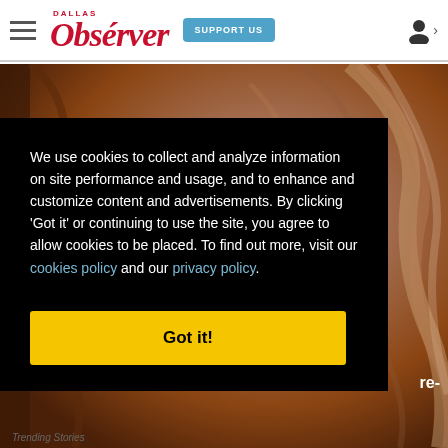Dallas Observer — SUPPORT US
[Figure (photo): Close-up photograph of a textured wood grain or fossil surface with swirling brown and tan patterns]
We use cookies to collect and analyze information on site performance and usage, and to enhance and customize content and advertisements. By clicking 'Got it' or continuing to use the site, you agree to allow cookies to be placed. To find out more, visit our cookies policy and our privacy policy.
Got it!
re-
Trending Stories